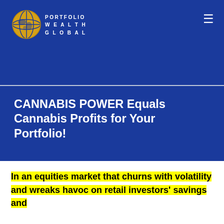PORTFOLIO WEALTH GLOBAL
CANNABIS POWER Equals Cannabis Profits for Your Portfolio!
UNCATEGORIZED
In an equities market that churns with volatility and wreaks havoc on retail investors' savings and